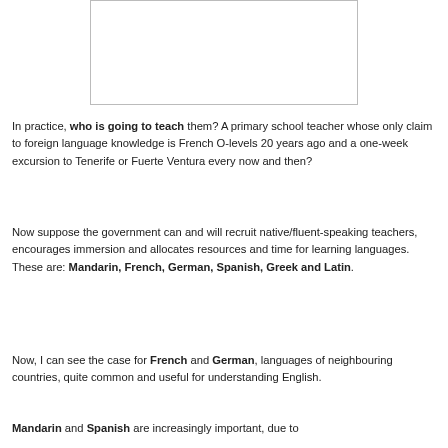[Figure (other): Empty white box / placeholder image at top of page]
In practice, who is going to teach them? A primary school teacher whose only claim to foreign language knowledge is French O-levels 20 years ago and a one-week excursion to Tenerife or Fuerte Ventura every now and then?
Now suppose the government can and will recruit native/fluent-speaking teachers, encourages immersion and allocates resources and time for learning languages. These are: Mandarin, French, German, Spanish, Greek and Latin.
Now, I can see the case for French and German, languages of neighbouring countries, quite common and useful for understanding English.
Mandarin and Spanish are increasingly important, due to